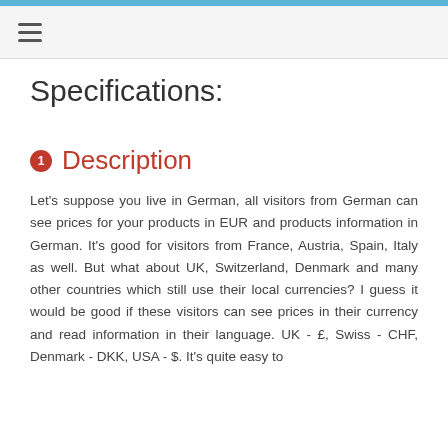≡
Specifications:
1 Description
Let's suppose you live in German, all visitors from German can see prices for your products in EUR and products information in German. It's good for visitors from France, Austria, Spain, Italy as well. But what about UK, Switzerland, Denmark and many other countries which still use their local currencies? I guess it would be good if these visitors can see prices in their currency and read information in their language. UK - £, Swiss - CHF, Denmark - DKK, USA - $. It's quite easy to